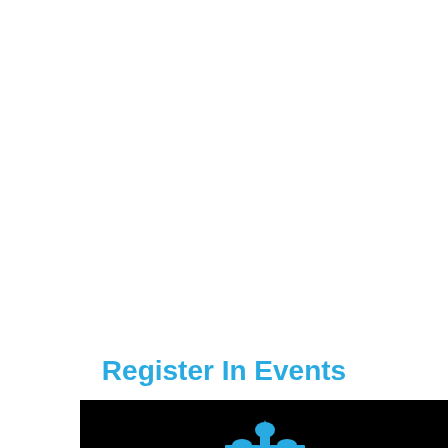Register In Events
[Figure (illustration): Black banner image with a blue building/dome silhouette icon visible at the bottom center]